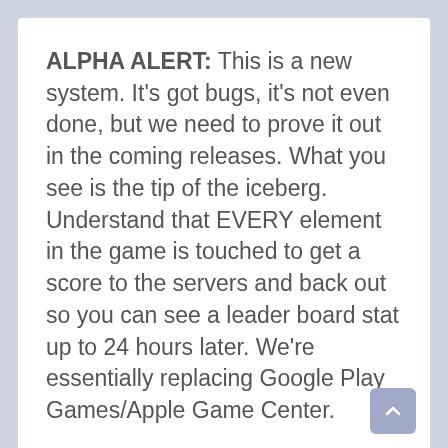ALPHA ALERT: This is a new system. It's got bugs, it's not even done, but we need to prove it out in the coming releases. What you see is the tip of the iceberg. Understand that EVERY element in the game is touched to get a score to the servers and back out so you can see a leader board stat up to 24 hours later. We're essentially replacing Google Play Games/Apple Game Center.
There is some hard computer science to solve some of these issues, but confidence is high, and we haven't even achieved our final form. But as battles are reported to the server we will filling these tables (likely